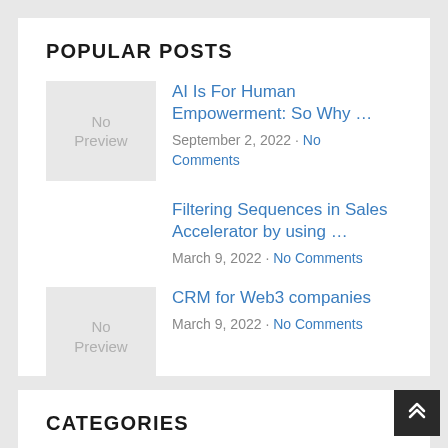POPULAR POSTS
AI Is For Human Empowerment: So Why … · September 2, 2022 · No Comments
Filtering Sequences in Sales Accelerator by using … · March 9, 2022 · No Comments
CRM for Web3 companies · March 9, 2022 · No Comments
CATEGORIES